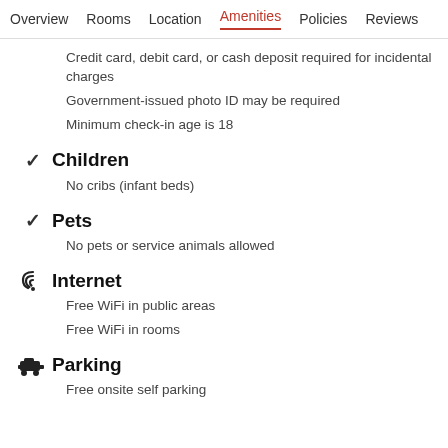Overview  Rooms  Location  Amenities  Policies  Reviews
Credit card, debit card, or cash deposit required for incidental charges
Government-issued photo ID may be required
Minimum check-in age is 18
Children
No cribs (infant beds)
Pets
No pets or service animals allowed
Internet
Free WiFi in public areas
Free WiFi in rooms
Parking
Free onsite self parking